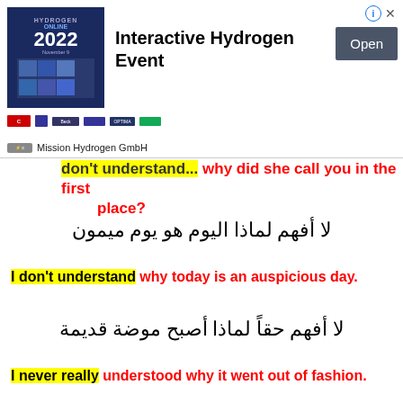[Figure (screenshot): Advertisement banner for Interactive Hydrogen Event 2022 by Mission Hydrogen GmbH with Open button]
don't understand... why did she call you in the first place?
لا أفهم لماذا اليوم هو يوم ميمون
I don't understand why today is an auspicious day.
لا أفهم حقاً لماذا أصبح موضة قديمة
I never really understood why it went out of fashion.
انى لا أفهم كيف سيساعدنا هؤلاء الهنود